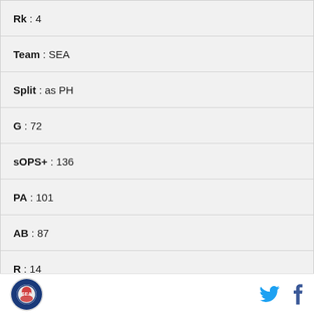Rk : 4
Team : SEA
Split : as PH
G : 72
sOPS+ : 136
PA : 101
AB : 87
R : 14
H : 23
2B : 3
3B : 0